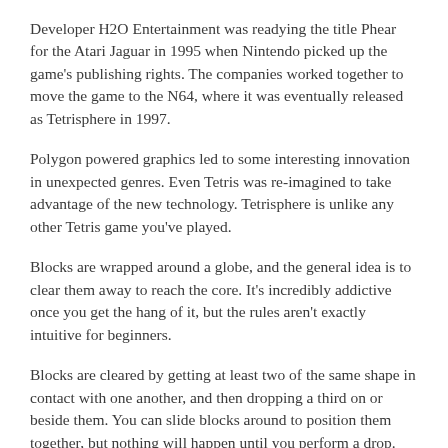Developer H2O Entertainment was readying the title Phear for the Atari Jaguar in 1995 when Nintendo picked up the game's publishing rights. The companies worked together to move the game to the N64, where it was eventually released as Tetrisphere in 1997.
Polygon powered graphics led to some interesting innovation in unexpected genres. Even Tetris was re-imagined to take advantage of the new technology. Tetrisphere is unlike any other Tetris game you've played.
Blocks are wrapped around a globe, and the general idea is to clear them away to reach the core. It's incredibly addictive once you get the hang of it, but the rules aren't exactly intuitive for beginners.
Blocks are cleared by getting at least two of the same shape in contact with one another, and then dropping a third on or beside them. You can slide blocks around to position them together, but nothing will happen until you perform a drop.
What it really means to have two pieces in contact also varies by the type of piece. The square "O" shaped pieces, for example, must be...